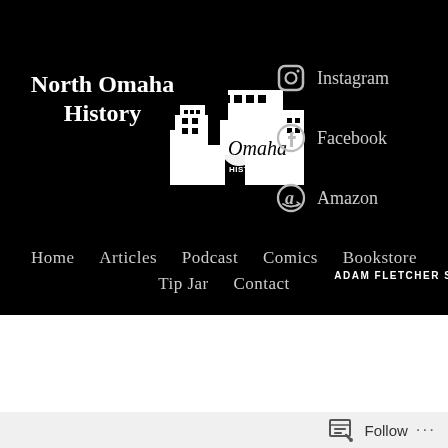North Omaha History
[Figure (logo): North Omaha History logo: stylized buildings silhouette in white with 'NORTH Omaha HISTORY' text]
ADAM FLETCHER SASSE
Instagram
Facebook
Amazon
Home   Articles   Podcast   Comics   Bookstore
Tip Jar   Contact
20TH CENTURY,  21ST CENTURY,  ARCHITECTURE,  HISTORIC HOUSES,  HISTORIC PRESERVATION,
Follow